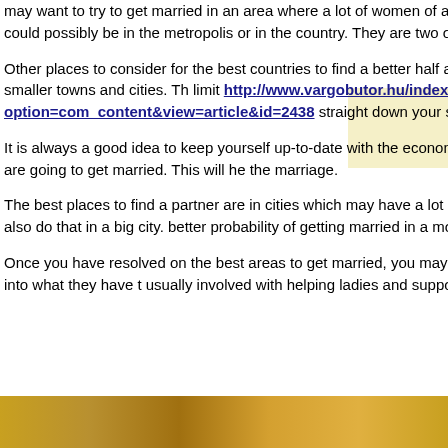may want to try to get married in an area where a lot of women of all ages work in the industry world. This type of areas could possibly be in the metropolis or in the country. They are two of the most popular locations to get married.
Other places to consider for the best countries to find a better half are the cities which have had a normal disaster, and smaller towns and cities. This limit http://www.vargobutor.hu/index.php?option=com_content&view=article&id=2438 straight down your search down the options greatly.
It is always a good idea to keep yourself up-to-date with the economy in the area. You may want to take a mortgage if you are going to get married. This will help you finance the marriage.
The best places to find a partner are in cities which may have a lot of people. If you want to marry in a town this can be done, but you can also do that in a big city. You have a better probability of getting married in a more substantial city.
Once you have resolved on the best areas to get married, you may want to contact the Women's Rights Group in the area. You can check into what they have to offer. They are usually involved with helping ladies and supporting them with their legal issues.
[Figure (photo): Photo strip at bottom of page showing warm golden/amber tones]